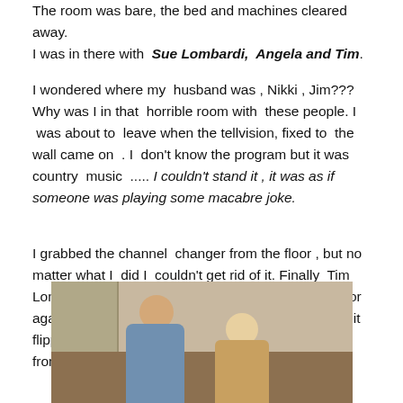The room was bare, the bed and machines cleared away. I was in there with Sue Lombardi, Angela and Tim.
I wondered where my husband was , Nikki , Jim???Why was I in that horrible room with these people. I was about to leave when the tellvision, fixed to the wall came on . I don't know the program but it was country music ..... I couldn't stand it , it was as if someone was playing some macabre joke.
I grabbed the channel changer from the floor , but no matter what I did I couldn't get rid of it. Finally Tim Lombardi left Sue's side , she was sitting on the floor against the wall, but all he managed to do was get it flipping through channels. It ended up on a scene from
[Figure (photo): A photo showing two people in an indoor scene, appearing to be from a TV show or film. A taller man on the left leans toward a shorter person on the right, with wooden paneling visible in the background.]